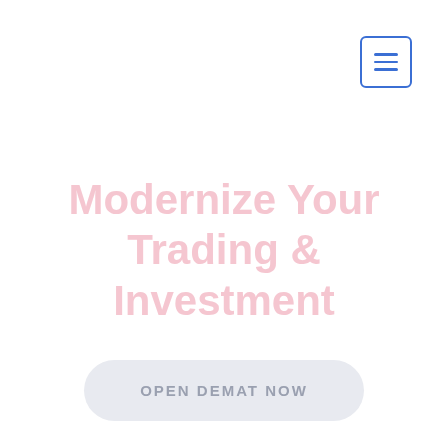[Figure (other): Navigation menu hamburger button with three horizontal blue lines inside a blue-bordered square rounded rectangle, positioned in the top-right corner]
Modernize Your Trading & Investment
OPEN DEMAT NOW